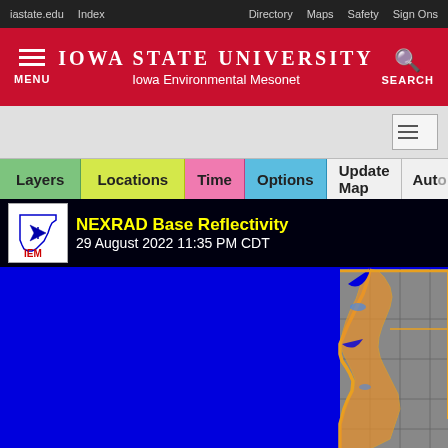iastate.edu  Index  Directory  Maps  Safety  Sign Ons
Iowa State University — Iowa Environmental Mesonet
[Figure (screenshot): Iowa Environmental Mesonet NEXRAD Base Reflectivity map showing 29 August 2022 11:35 PM CDT with blue background (no reflectivity) and orange/gold state boundary lines on the right side, with gray counties visible]
NEXRAD Base Reflectivity
29 August 2022 11:35 PM CDT
Layers  Locations  Time  Options  Update Map  Auto